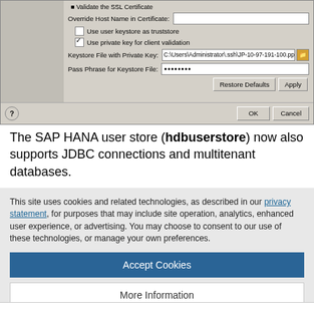[Figure (screenshot): Windows dialog screenshot showing SSL/TLS certificate configuration fields: Override Host Name in Certificate text field, Use user keystore as truststore checkbox (unchecked), Use private key for client validation checkbox (checked), Keystore File with Private Key field showing C:\Users\Administrator\ssh\JP-10-97-191-100.ppk with browse button, Pass Phrase for Keystore File field with dots, Restore Defaults and Apply buttons, and OK/Cancel buttons at bottom.]
The SAP HANA user store (hdbuserstore) now also supports JDBC connections and multitenant databases.
This site uses cookies and related technologies, as described in our privacy statement, for purposes that may include site operation, analytics, enhanced user experience, or advertising. You may choose to consent to our use of these technologies, or manage your own preferences.
Accept Cookies
More Information
Privacy Policy | Powered by: TrustArc